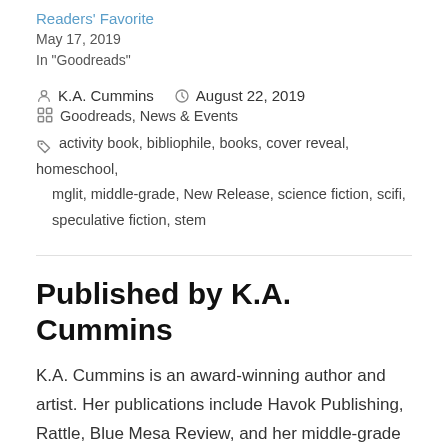Readers' Favorite
May 17, 2019
In "Goodreads"
K.A. Cummins   August 22, 2019
Goodreads, News & Events
activity book, bibliophile, books, cover reveal, homeschool, mglit, middle-grade, New Release, science fiction, scifi, speculative fiction, stem
Published by K.A. Cummins
K.A. Cummins is an award-winning author and artist. Her publications include Havok Publishing, Rattle, Blue Mesa Review, and her middle-grade series, Snow Globe Travelers. View more posts